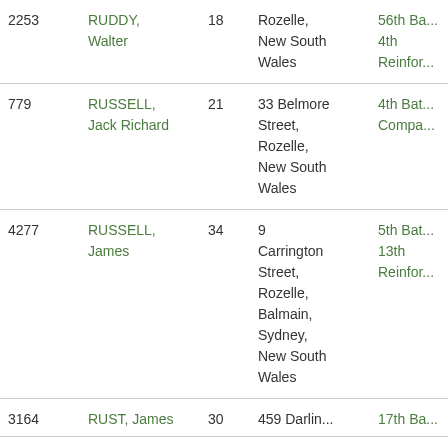| ID | Name | Age | Address | Unit |
| --- | --- | --- | --- | --- |
| 2253 | RUDDY, Walter | 18 | Rozelle, New South Wales | 56th Ba... 4th Reinfor... |
| 779 | RUSSELL, Jack Richard | 21 | 33 Belmore Street, Rozelle, New South Wales | 4th Bat... Compa... |
| 4277 | RUSSELL, James | 34 | 9 Carrington Street, Rozelle, Balmain, Sydney, New South Wales | 5th Bat... 13th Reinfor... |
| 3164 | RUST, James | 30 | 459 Darlin... | 17th Ba... |